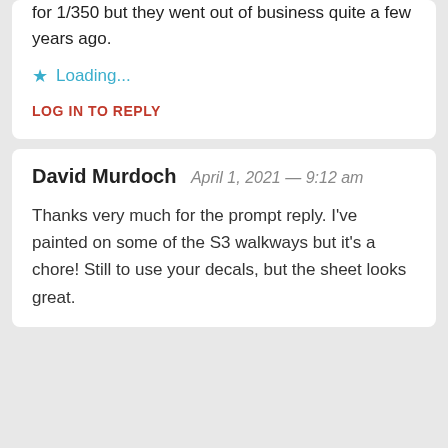for 1/350 but they went out of business quite a few years ago.
Loading...
LOG IN TO REPLY
David Murdoch  April 1, 2021 — 9:12 am
Thanks very much for the prompt reply. I've painted on some of the S3 walkways but it's a chore! Still to use your decals, but the sheet looks great.